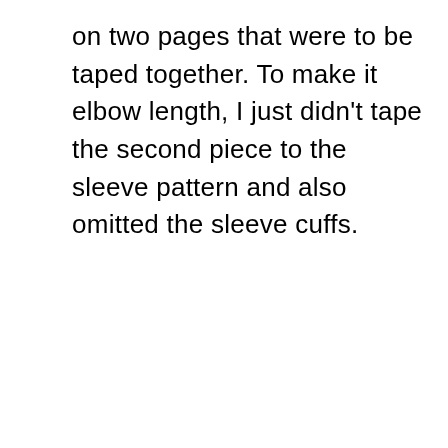on two pages that were to be taped together. To make it elbow length, I just didn't tape the second piece to the sleeve pattern and also omitted the sleeve cuffs.